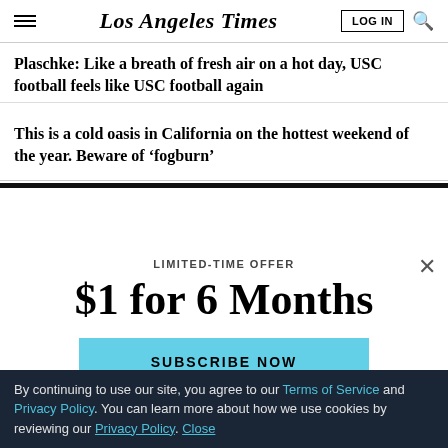Los Angeles Times
Plaschke: Like a breath of fresh air on a hot day, USC football feels like USC football again
This is a cold oasis in California on the hottest weekend of the year. Beware of ‘fogburn’
LIMITED-TIME OFFER
$1 for 6 Months
SUBSCRIBE NOW
By continuing to use our site, you agree to our Terms of Service and Privacy Policy. You can learn more about how we use cookies by reviewing our Privacy Policy. Close